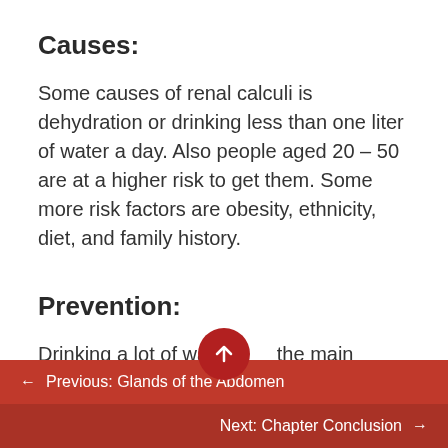Causes:
Some causes of renal calculi is dehydration or drinking less than one liter of water a day. Also people aged 20 – 50 are at a higher risk to get them. Some more risk factors are obesity, ethnicity, diet, and family history.
Prevention:
Drinking a lot of water is the main preventer of renal calculi. Eating low amounts of
← Previous: Glands of the Abdomen
Next: Chapter Conclusion →